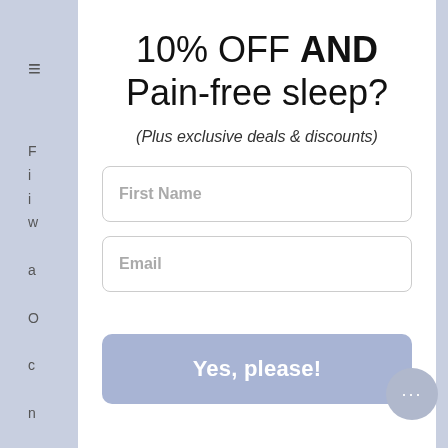10% OFF AND Pain-free sleep?
(Plus exclusive deals & discounts)
First Name (input field)
Email (input field)
Yes, please! (button)